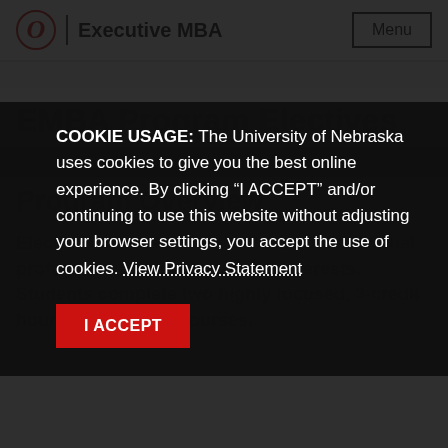O | Executive MBA  Menu
EMBA Program Electives
COOKIE USAGE: The University of Nebraska uses cookies to give you the best online experience. By clicking “I ACCEPT” and/or continuing to use this website without adjusting your browser settings, you accept the use of cookies. View Privacy Statement
I ACCEPT
Electives allow students to focus on individual professional development and interests. Students complete two highly focused, 3-credit hour, special topic courses.